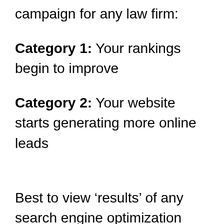campaign for any law firm:
Category 1: Your rankings begin to improve
Category 2: Your website starts generating more online leads
Best to view ‘results’ of any search engine optimization campaign in separate phases.